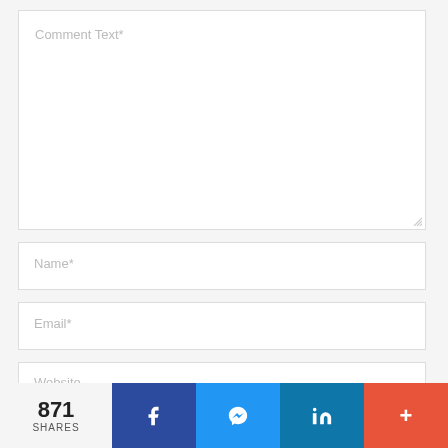[Figure (screenshot): Comment text input textarea with placeholder text 'Comment Text*', showing a large empty white input box with a resize handle at the bottom right corner]
[Figure (screenshot): Name input field with placeholder text 'Name*']
[Figure (screenshot): Email input field with placeholder text 'Email*']
[Figure (screenshot): Website input field partially visible with placeholder text 'Website']
[Figure (infographic): Bottom social sharing bar showing 871 SHARES, Facebook button, Messenger button, LinkedIn button, and a + more button]